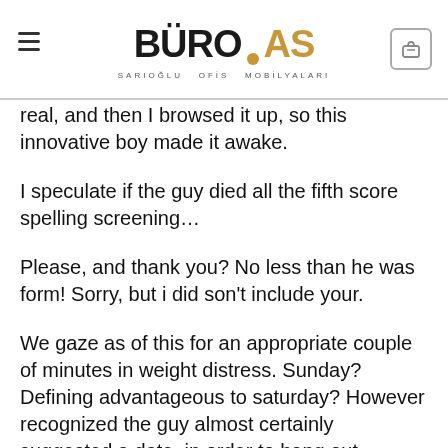BÜRO.AS — SARIOĞLU OFİS MOBİLYALARI
real, and then I browsed it up, so this innovative boy made it awake.
I speculate if the guy died all the fifth score spelling screening…
Please, and thank you? No less than he was form! Sorry, but i did son't include your.
We gaze as of this for an appropriate couple of minutes in weight distress. Sunday? Defining advantageous to saturday? However recognized the guy almost certainly suggested a date, in order to hang out.
My personal impulse exactly! Possibly, he was